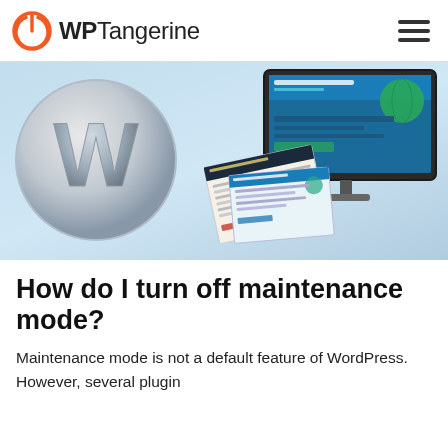WPTangerine
[Figure (illustration): Hero banner image showing a large WordPress 'W' logo on the left against a light blue gradient background, and a desktop monitor on the right displaying a website, with multiple website design pages fanning out in front of the monitor.]
How do I turn off maintenance mode?
Maintenance mode is not a default feature of WordPress. However, several plugin